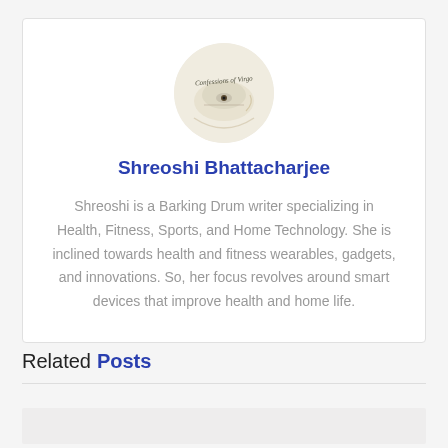[Figure (illustration): Circular avatar image showing a logo or brand image with cursive text reading 'Confessions of Virgo' and an eye symbol on a light beige/cream background]
Shreoshi Bhattacharjee
Shreoshi is a Barking Drum writer specializing in Health, Fitness, Sports, and Home Technology. She is inclined towards health and fitness wearables, gadgets, and innovations. So, her focus revolves around smart devices that improve health and home life.
Related Posts